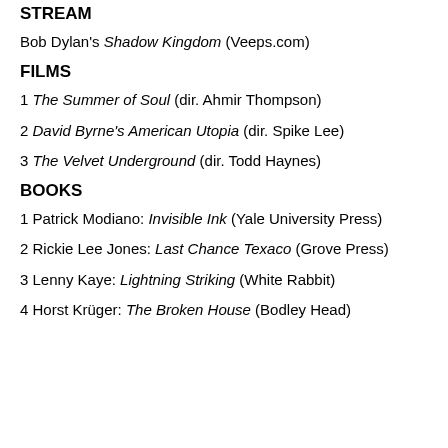STREAM
Bob Dylan's Shadow Kingdom (Veeps.com)
FILMS
1 The Summer of Soul (dir. Ahmir Thompson)
2 David Byrne's American Utopia (dir. Spike Lee)
3 The Velvet Underground (dir. Todd Haynes)
BOOKS
1 Patrick Modiano: Invisible Ink (Yale University Press)
2 Rickie Lee Jones: Last Chance Texaco (Grove Press)
3 Lenny Kaye: Lightning Striking (White Rabbit)
4 Horst Krüger: The Broken House (Bodley Head)